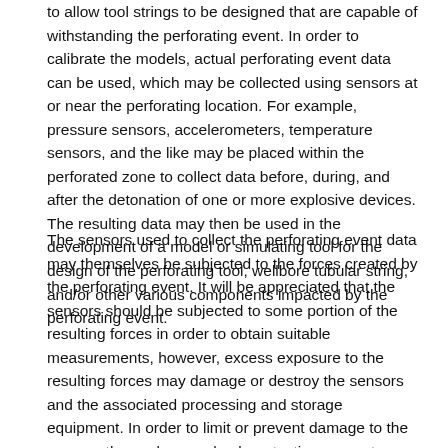to allow tool strings to be designed that are capable of withstanding the perforating event. In order to calibrate the models, actual perforating event data can be used, which may be collected using sensors at or near the perforating location. For example, pressure sensors, accelerometers, temperature sensors, and the like may be placed within the perforated zone to collect data before, during, and after the detonation of one or more explosive devices. The resulting data may then be used in the development of a model or simulating tool for the design of the perforating tool, wellbore tubular string, and/or other various components impacted by the perforating event.
The sensors used to collect the perforating event data may themselves be subjected to the forces created by the perforating event. It will be appreciated that the sensors should be subjected to some portion of the resulting forces in order to obtain suitable measurements, however, excess exposure to the resulting forces may damage or destroy the sensors and the associated processing and storage equipment. In order to limit or prevent damage to the sensors themselves, a shock protection apparatus may be used to limit or control the impact of the forces